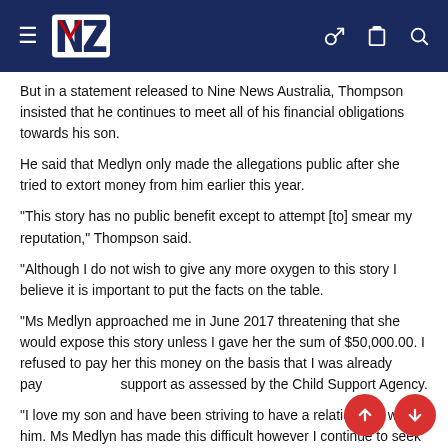NZ (news site navigation bar)
But in a statement released to Nine News Australia, Thompson insisted that he continues to meet all of his financial obligations towards his son.
He said that Medlyn only made the allegations public after she tried to extort money from him earlier this year.
"This story has no public benefit except to attempt [to] smear my reputation," Thompson said.
"Although I do not wish to give any more oxygen to this story I believe it is important to put the facts on the table.
"Ms Medlyn approached me in June 2017 threatening that she would expose this story unless I gave her the sum of $50,000.00. I refused to pay her this money on the basis that I was already paying her child support as assessed by the Child Support Agency.
"I love my son and have been striving to have a relationship with him. Ms Medlyn has made this difficult however I continue to seek avenues to pursue having a proper relationship with my son."